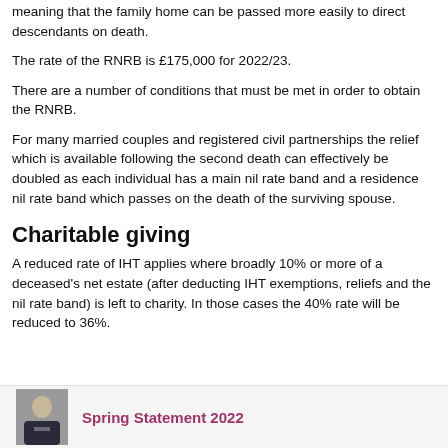meaning that the family home can be passed more easily to direct descendants on death.
The rate of the RNRB is £175,000 for 2022/23.
There are a number of conditions that must be met in order to obtain the RNRB.
For many married couples and registered civil partnerships the relief which is available following the second death can effectively be doubled as each individual has a main nil rate band and a residence nil rate band which passes on the death of the surviving spouse.
Charitable giving
A reduced rate of IHT applies where broadly 10% or more of a deceased's net estate (after deducting IHT exemptions, reliefs and the nil rate band) is left to charity. In those cases the 40% rate will be reduced to 36%.
[Figure (photo): Photo of a person in a suit, partially visible]
Spring Statement 2022